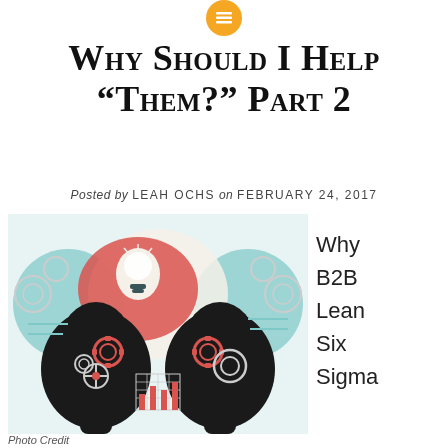[Figure (logo): Orange circular icon with horizontal lines (menu/list icon) at top center]
Why Should I Help "Them?" Part 2
Posted by LEAH OCHS on FEBRUARY 24, 2017
[Figure (illustration): Two silhouetted human heads facing each other with gears inside their brains, a light bulb in a speech bubble between them, gears and arrows in the background, and a bar chart grid in the lower middle. Teal, red/coral, and cream color scheme.]
Why B2B Lean Six Sigma
Photo Credit